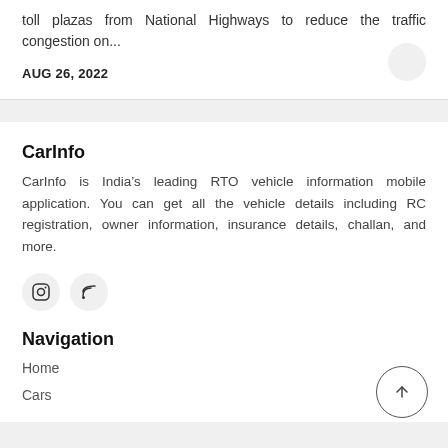toll plazas from National Highways to reduce the traffic congestion on...
AUG 26, 2022
CarInfo
CarInfo is India's leading RTO vehicle information mobile application. You can get all the vehicle details including RC registration, owner information, insurance details, challan, and more.
[Figure (illustration): Social media icons: Instagram and RSS feed in circular grey buttons]
Navigation
Home
Cars